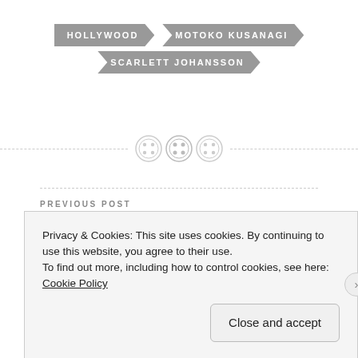HOLLYWOOD
MOTOKO KUSANAGI
SCARLETT JOHANSSON
[Figure (illustration): Decorative divider with three button/circle icons on a dashed horizontal line]
PREVIOUS POST
Poem: This is Harder Than Exected
NEXT POST
Privacy & Cookies: This site uses cookies. By continuing to use this website, you agree to their use.
To find out more, including how to control cookies, see here: Cookie Policy
Close and accept